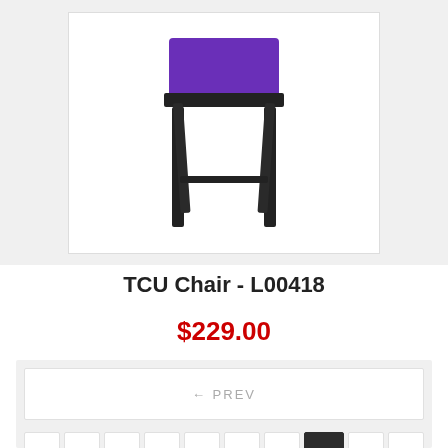[Figure (photo): A chair with dark wooden legs and a purple seat cushion, photographed against a white background.]
TCU Chair - L00418
$229.00
← PREV
5
6
7
8
9
10
11
12
13
14
15
16
17
18
19